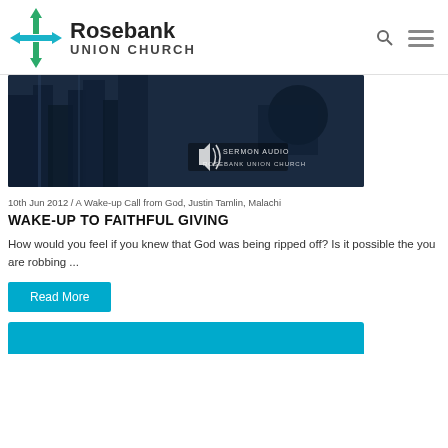Rosebank Union Church
[Figure (photo): Dark blue toned image with sermon audio watermark text reading SERMON AUDIO ROSEBANK UNION CHURCH]
10th Jun 2012 / A Wake-up Call from God, Justin Tamlin, Malachi
WAKE-UP TO FAITHFUL GIVING
How would you feel if you knew that God was being ripped off? Is it possible the you are robbing ...
Read More